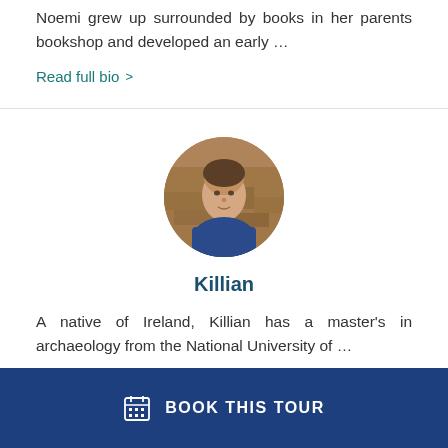Noemi grew up surrounded by books in her parents bookshop and developed an early …
Read full bio >
[Figure (photo): Circular headshot photo of Killian, a man in a blue shirt, with a stone wall background]
Killian
A native of Ireland, Killian has a master's in archaeology from the National University of …
BOOK THIS TOUR